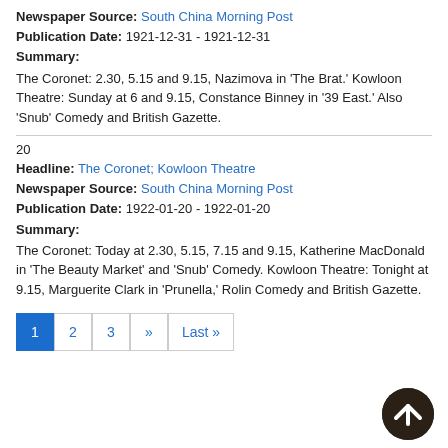Newspaper Source: South China Morning Post
Publication Date: 1921-12-31 - 1921-12-31
Summary:
The Coronet: 2.30, 5.15 and 9.15, Nazimova in 'The Brat.' Kowloon Theatre: Sunday at 6 and 9.15, Constance Binney in '39 East.' Also 'Snub' Comedy and British Gazette.
20
Headline: The Coronet; Kowloon Theatre
Newspaper Source: South China Morning Post
Publication Date: 1922-01-20 - 1922-01-20
Summary:
The Coronet: Today at 2.30, 5.15, 7.15 and 9.15, Katherine MacDonald in 'The Beauty Market' and 'Snub' Comedy. Kowloon Theatre: Tonight at 9.15, Marguerite Clark in 'Prunella,' Rolin Comedy and British Gazette.
Pagination: 1 2 3 >> Last »